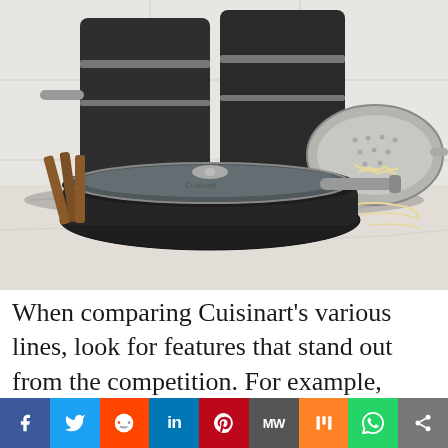[Figure (photo): Cuisinart cookware set including dark hard-anodized pots and pans stacked together, a glass-lidded skillet in front, a stainless steel colander/strainer with pasta, wooden cooking utensils, on a white marble countertop with white tile backsplash.]
When comparing Cuisinart’s various lines, look for features that stand out from the competition. For example, some non-stick lines have a stay-cool-
f  ᵔ  δ  in  ℗  MW  m  ®  <